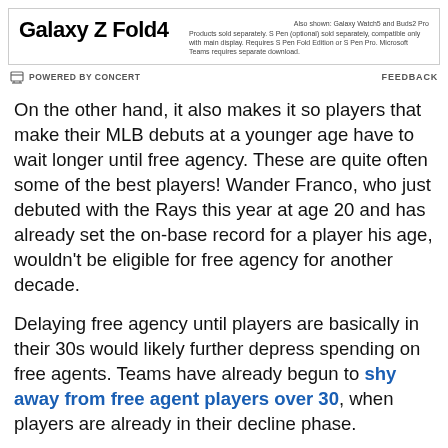[Figure (other): Galaxy Z Fold4 advertisement banner with product name and legal disclaimer text. Also shown: Galaxy Watch5 and Buds2 Pro.]
POWERED BY CONCERT   FEEDBACK
On the other hand, it also makes it so players that make their MLB debuts at a younger age have to wait longer until free agency. These are quite often some of the best players! Wander Franco, who just debuted with the Rays this year at age 20 and has already set the on-base record for a player his age, wouldn't be eligible for free agency for another decade.
Delaying free agency until players are basically in their 30s would likely further depress spending on free agents. Teams have already begun to shy away from free agent players over 30, when players are already in their decline phase.